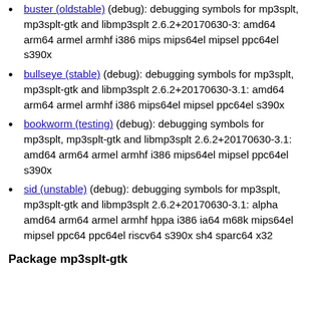buster (oldstable) (debug): debugging symbols for mp3splt, mp3splt-gtk and libmp3splt 2.6.2+20170630-3: amd64 arm64 armel armhf i386 mips mips64el mipsel ppc64el s390x
bullseye (stable) (debug): debugging symbols for mp3splt, mp3splt-gtk and libmp3splt 2.6.2+20170630-3.1: amd64 arm64 armel armhf i386 mips64el mipsel ppc64el s390x
bookworm (testing) (debug): debugging symbols for mp3splt, mp3splt-gtk and libmp3splt 2.6.2+20170630-3.1: amd64 arm64 armel armhf i386 mips64el mipsel ppc64el s390x
sid (unstable) (debug): debugging symbols for mp3splt, mp3splt-gtk and libmp3splt 2.6.2+20170630-3.1: alpha amd64 arm64 armel armhf hppa i386 ia64 m68k mips64el mipsel ppc64 ppc64el riscv64 s390x sh4 sparc64 x32
Package mp3splt-gtk